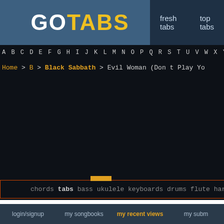GOTABS — fresh tabs  top tabs
A B C D E F G H I J K L M N O P Q R S T U V W X Y Z
Home > B > Black Sabbath > Evil Woman (Don t Play Yo
chords  tabs  bass  ukulele  keyboards  drums  flute  harmonica  guitar pro  vid
login/signup   my songbooks   my recent views   my subm